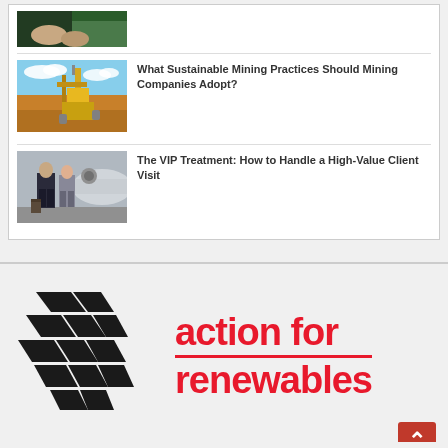[Figure (photo): Partial view of a person holding something, cropped at top]
[Figure (photo): Mining crane/drill rig on orange desert landscape with blue sky and clouds]
What Sustainable Mining Practices Should Mining Companies Adopt?
[Figure (photo): Two business people (man and woman in suits) standing near private jet]
The VIP Treatment: How to Handle a High-Value Client Visit
[Figure (logo): Action for Renewables logo: black solar panel wing shape on left, red bold text 'action for renewables' on right]